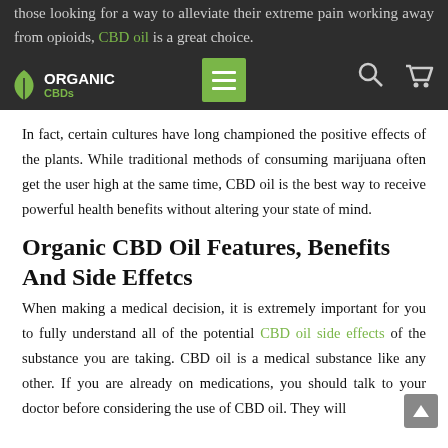those looking for a way to alleviate their extreme pain working away from opioids, CBD oil is a great choice.
In fact, certain cultures have long championed the positive effects of the plants. While traditional methods of consuming marijuana often get the user high at the same time, CBD oil is the best way to receive powerful health benefits without altering your state of mind.
Organic CBD Oil Features, Benefits And Side Effetcs
When making a medical decision, it is extremely important for you to fully understand all of the potential CBD oil side effects of the substance you are taking. CBD oil is a medical substance like any other. If you are already on medications, you should talk to your doctor before considering the use of CBD oil. They will